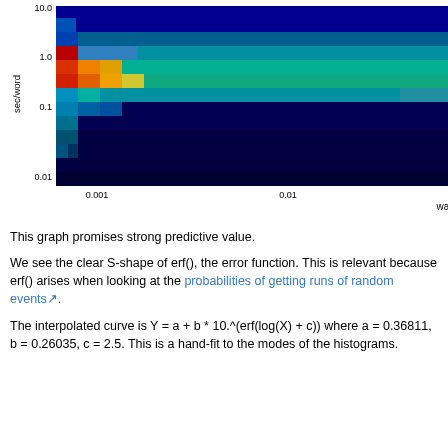[Figure (continuous-plot): 2D heatmap/density plot with x-axis 'wa/w' (log scale 0.001 to 1.0) and y-axis 'sec/word' (log scale 0.01 to 10.0). Color scale from 0 (dark blue) to 0.35 (red/orange). Shows concentration of data as an S-shaped ridge with a diagonal fitted curve overlaid.]
This graph promises strong predictive value.
We see the clear S-shape of erf(), the error function. This is relevant because erf() arises when looking at the probabilities of getting runs of random events.
The interpolated curve is Y = a + b * 10.^(erf(log(X) + c)) where a = 0.36811, b = 0.26035, c = 2.5. This is a hand-fit to the modes of the histograms.